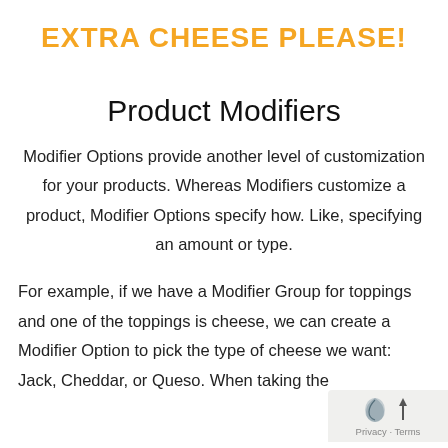EXTRA CHEESE PLEASE!
Product Modifiers
Modifier Options provide another level of customization for your products. Whereas Modifiers customize a product, Modifier Options specify how. Like, specifying an amount or type.
For example, if we have a Modifier Group for toppings and one of the toppings is cheese, we can create a Modifier Option to pick the type of cheese we want: Jack, Cheddar, or Queso. When taking the